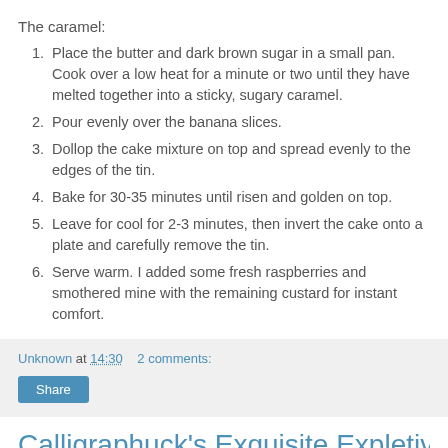The caramel:
Place the butter and dark brown sugar in a small pan. Cook over a low heat for a minute or two until they have melted together into a sticky, sugary caramel.
Pour evenly over the banana slices.
Dollop the cake mixture on top and spread evenly to the edges of the tin.
Bake for 30-35 minutes until risen and golden on top.
Leave for cool for 2-3 minutes, then invert the cake onto a plate and carefully remove the tin.
Serve warm. I added some fresh raspberries and smothered mine with the remaining custard for instant comfort.
Unknown at 14:30   2 comments:
Calligraphuck's Exquisite Expletives